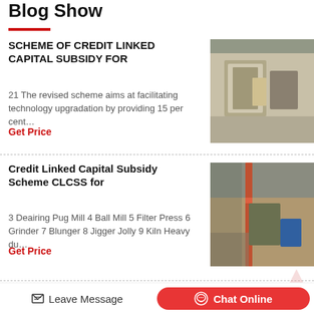Blog Show
SCHEME OF CREDIT LINKED CAPITAL SUBSIDY FOR
21 The revised scheme aims at facilitating technology upgradation by providing 15 per cent…
Get Price
[Figure (photo): Industrial facility interior with equipment and machinery]
Credit Linked Capital Subsidy Scheme CLCSS for
3 Deairing Pug Mill 4 Ball Mill 5 Filter Press 6 Grinder 7 Blunger 8 Jigger Jolly 9 Kiln Heavy du…
Get Price
[Figure (photo): Industrial warehouse or factory interior with red crane]
Transaction of Incers
[Figure (photo): Partial view of industrial site]
Leave Message   Chat Online